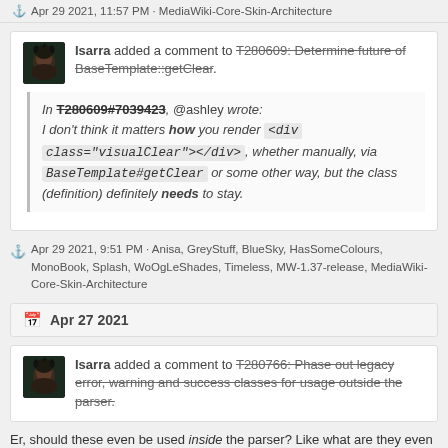Apr 29 2021, 11:57 PM · MediaWiki-Core-Skin-Architecture
Isarra added a comment to T280609: Determine future of BaseTemplate::getClear.
In T280609#7039423, @ashley wrote:
I don't think it matters how you render <div class="visualClear"></div>, whether manually, via BaseTemplate#getClear or some other way, but the class (definition) definitely needs to stay.
Apr 29 2021, 9:51 PM · Anisa, GreyStuff, BlueSky, HasSomeColours, MonoBook, Splash, WoOgLeShades, Timeless, MW-1.37-release, MediaWiki-Core-Skin-Architecture
Apr 27 2021
Isarra added a comment to T280766: Phase out legacy error, warning and success classes for usage outside the parser.
Er, should these even be used inside the parser? Like what are they even for that a successbox wouldn't cover? Why have this variation?